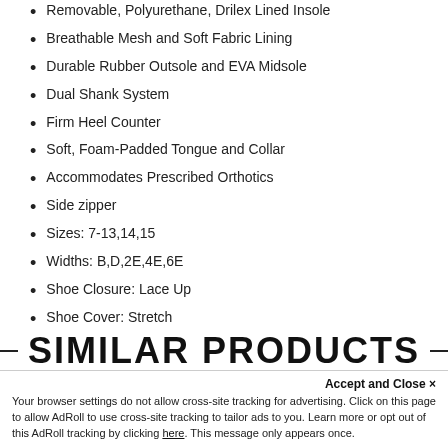Removable, Polyurethane, Drilex Lined Insole
Breathable Mesh and Soft Fabric Lining
Durable Rubber Outsole and EVA Midsole
Dual Shank System
Firm Heel Counter
Soft, Foam-Padded Tongue and Collar
Accommodates Prescribed Orthotics
Side zipper
Sizes: 7-13,14,15
Widths: B,D,2E,4E,6E
Shoe Closure: Lace Up
Shoe Cover: Stretch
SIMILAR PRODUCTS
Accept and Close ×
Your browser settings do not allow cross-site tracking for advertising. Click on this page to allow AdRoll to use cross-site tracking to tailor ads to you. Learn more or opt out of this AdRoll tracking by clicking here. This message only appears once.